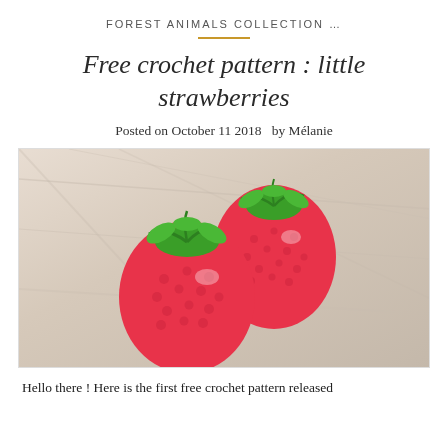FOREST ANIMALS COLLECTION …
Free crochet pattern : little strawberries
Posted on October 11 2018   by Mélanie
[Figure (photo): Two crocheted red strawberries with green leaves on a light wooden surface]
Hello there ! Here is the first free crochet pattern released